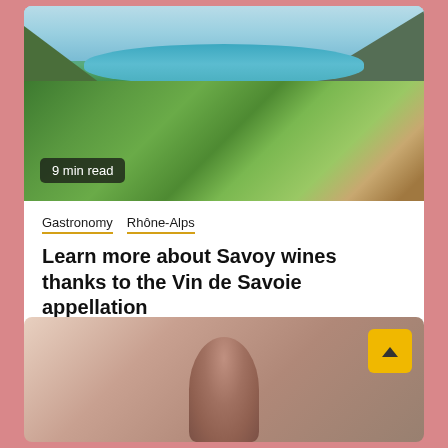[Figure (photo): Aerial landscape photo showing a lake with turquoise water surrounded by mountains and green vineyards/fields, with a town visible in the background. A dark badge overlay reads '9 min read'.]
9 min read
Gastronomy  Rhône-Alps
Learn more about Savoy wines thanks to the Vin de Savoie appellation
[Figure (photo): Partial lower card showing a blurred/close-up photo of a person or object, with a yellow scroll-to-top button (chevron up arrow) in the top right corner.]